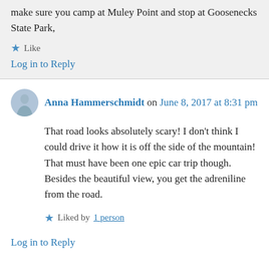make sure you camp at Muley Point and stop at Goosenecks State Park,
Like
Log in to Reply
Anna Hammerschmidt on June 8, 2017 at 8:31 pm
That road looks absolutely scary! I don't think I could drive it how it is off the side of the mountain! That must have been one epic car trip though. Besides the beautiful view, you get the adreniline from the road.
Liked by 1 person
Log in to Reply